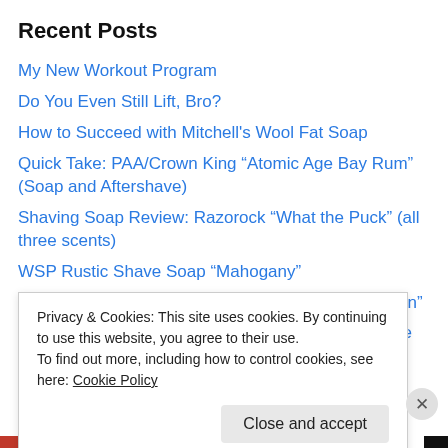Recent Posts
My New Workout Program
Do You Even Still Lift, Bro?
How to Succeed with Mitchell's Wool Fat Soap
Quick Take: PAA/Crown King “Atomic Age Bay Rum” (Soap and Aftershave)
Shaving Soap Review: Razorock “What the Puck” (all three scents)
WSP Rustic Shave Soap “Mahogany”
Shaving Soap Review: L&L Grooming “After the Rain”
Shaving Soap Review: Barrister and Mann “Reserve Spice”
Shaving Soap Review: Crown King “Sun Down”
Cella and the question of progress
Privacy & Cookies: This site uses cookies. By continuing to use this website, you agree to their use.
To find out more, including how to control cookies, see here: Cookie Policy